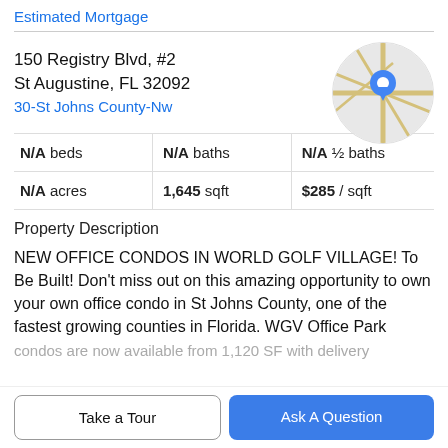Estimated Mortgage
150 Registry Blvd, #2
St Augustine, FL 32092
30-St Johns County-Nw
[Figure (map): Circular map thumbnail showing street map with blue location pin marker]
| N/A beds | N/A baths | N/A ½ baths |
| N/A acres | 1,645 sqft | $285 / sqft |
Property Description
NEW OFFICE CONDOS IN WORLD GOLF VILLAGE! To Be Built! Don't miss out on this amazing opportunity to own your own office condo in St Johns County, one of the fastest growing counties in Florida. WGV Office Park
condos are now available from 1,120 SF with delivery
Take a Tour
Ask A Question